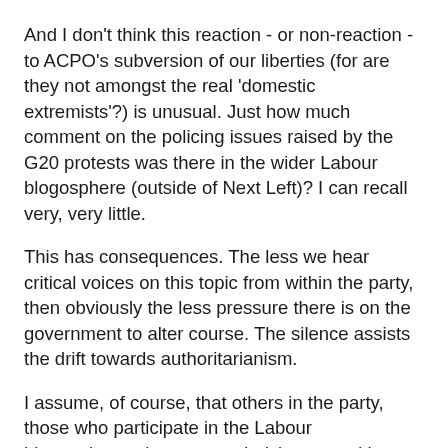And I don't think this reaction - or non-reaction - to ACPO's subversion of our liberties (for are they not amongst the real 'domestic extremists'?) is unusual. Just how much comment on the policing issues raised by the G20 protests was there in the wider Labour blogosphere (outside of Next Left)? I can recall very, very little.
This has consequences. The less we hear critical voices on this topic from within the party, then obviously the less pressure there is on the government to alter course. The silence assists the drift towards authoritarianism.
I assume, of course, that others in the party, those who participate in the Labour blogosphere, share my underlying opposition to authoritarianism.
The worrying thought is: perhaps they - perhaps you - don't share this opposition with me.
Perhaps what we are witnessing here, at the end of the New Labour story, is the Labour party's final abandonment of the 'politics of conscience', of the protest tradition, and its full